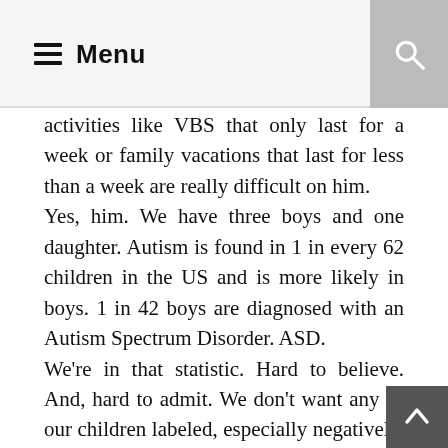Menu
activities like VBS that only last for a week or family vacations that last for less than a week are really difficult on him.
Yes, him. We have three boys and one daughter. Autism is found in 1 in every 62 children in the US and is more likely in boys. 1 in 42 boys are diagnosed with an Autism Spectrum Disorder. ASD.
We're in that statistic. Hard to believe. And, hard to admit. We don't want any of our children labeled, especially negatively. We want them to grow. Be the best they can be. Have a bright future. Be themselves.
Autism is a scary diagnosis for a parent, not because it is the worst, but because there are so many unknowns. In our case, it was mostly a shock. I grew up around people with special needs. My sister has downs syndrome and she had people